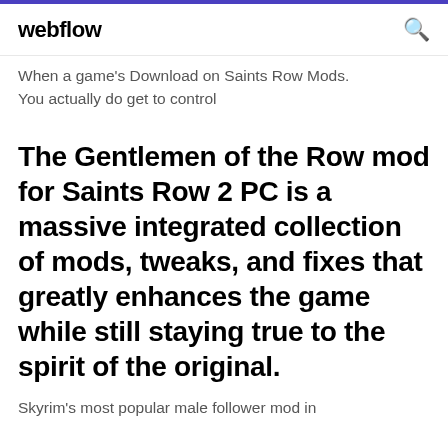webflow
When a game's Download on Saints Row Mods. You actually do get to control
The Gentlemen of the Row mod for Saints Row 2 PC is a massive integrated collection of mods, tweaks, and fixes that greatly enhances the game while still staying true to the spirit of the original.
Skyrim's most popular male follower mod in 2018 - Lucien. saints row iv mods pc download,